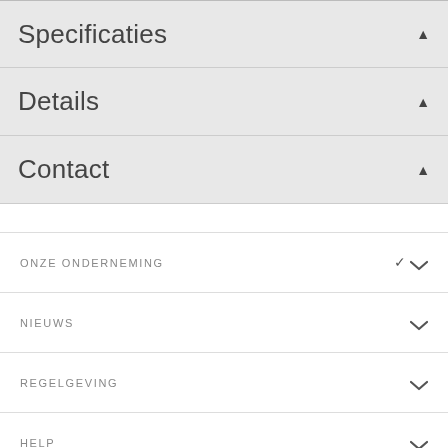Specificaties
Details
Contact
ONZE ONDERNEMING
NIEUWS
REGELGEVING
HELP